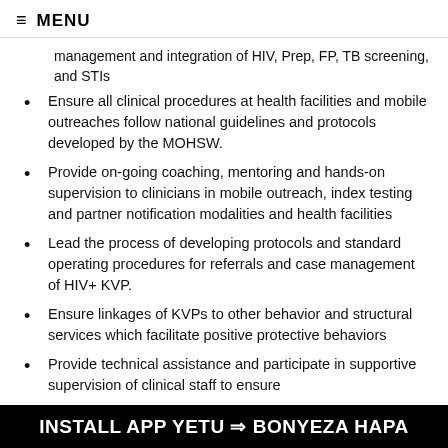≡ MENU
management and integration of HIV, Prep, FP, TB screening, and STIs
Ensure all clinical procedures at health facilities and mobile outreaches follow national guidelines and protocols developed by the MOHSW.
Provide on-going coaching, mentoring and hands-on supervision to clinicians in mobile outreach, index testing and partner notification modalities and health facilities
Lead the process of developing protocols and standard operating procedures for referrals and case management of HIV+ KVP.
Ensure linkages of KVPs to other behavior and structural services which facilitate positive protective behaviors
Provide technical assistance and participate in supportive supervision of clinical staff to ensure
INSTALL APP YETU ⇒ BONYEZA HAPA